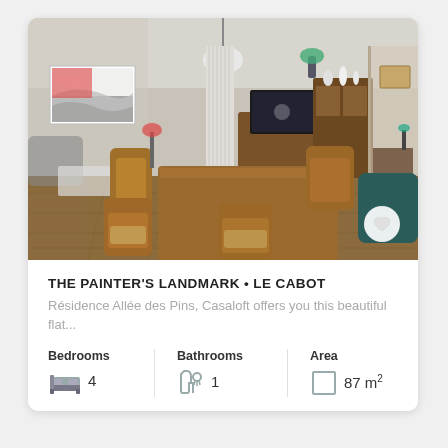[Figure (photo): Interior photo of a furnished dining room/living area with wooden dining table and chairs, flat-screen TV on a wooden sideboard, pendant lamp, parquet floor, artwork on wall, and additional room visible through doorway.]
THE PAINTER'S LANDMARK • LE CABOT
Résidence Allée des Pins, Casaloft offers you this beautiful flat...
Bedrooms  Bathrooms  Area
4  1  87 m²